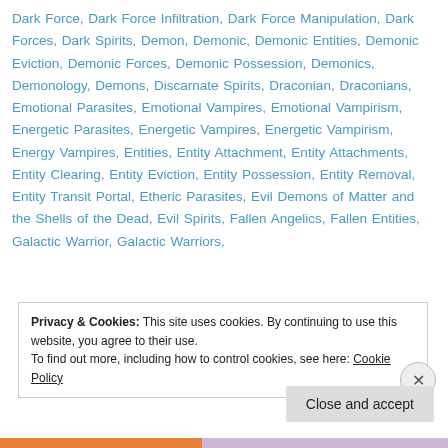Dark Force, Dark Force Infiltration, Dark Force Manipulation, Dark Forces, Dark Spirits, Demon, Demonic, Demonic Entities, Demonic Eviction, Demonic Forces, Demonic Possession, Demonics, Demonology, Demons, Discarnate Spirits, Draconian, Draconians, Emotional Parasites, Emotional Vampires, Emotional Vampirism, Energetic Parasites, Energetic Vampires, Energetic Vampirism, Energy Vampires, Entities, Entity Attachment, Entity Attachments, Entity Clearing, Entity Eviction, Entity Possession, Entity Removal, Entity Transit Portal, Etheric Parasites, Evil Demons of Matter and the Shells of the Dead, Evil Spirits, Fallen Angelics, Fallen Entities, Galactic Warrior, Galactic Warriors,
Privacy & Cookies: This site uses cookies. By continuing to use this website, you agree to their use. To find out more, including how to control cookies, see here: Cookie Policy